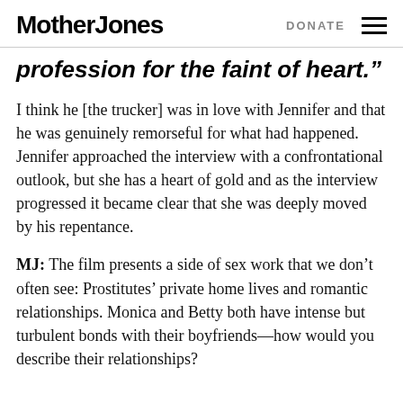Mother Jones | DONATE
profession for the faint of heart.”
I think he [the trucker] was in love with Jennifer and that he was genuinely remorseful for what had happened. Jennifer approached the interview with a confrontational outlook, but she has a heart of gold and as the interview progressed it became clear that she was deeply moved by his repentance.
MJ: The film presents a side of sex work that we don’t often see: Prostitutes’ private home lives and romantic relationships. Monica and Betty both have intense but turbulent bonds with their boyfriends—how would you describe their relationships?